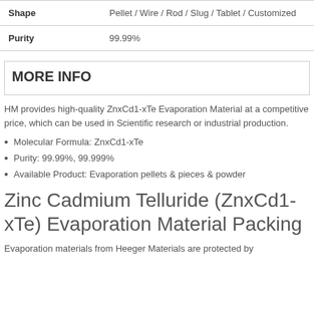| Property | Value |
| --- | --- |
| Shape | Pellet / Wire / Rod / Slug / Tablet / Customized |
| Purity | 99.99% |
MORE INFO
HM provides high-quality ZnxCd1-xTe Evaporation Material at a competitive price, which can be used in Scientific research or industrial production.
Molecular Formula: ZnxCd1-xTe
Purity: 99.99%, 99.999%
Available Product: Evaporation pellets & pieces & powder
Zinc Cadmium Telluride (ZnxCd1-xTe) Evaporation Material Packing
Evaporation materials from Heeger Materials are protected by